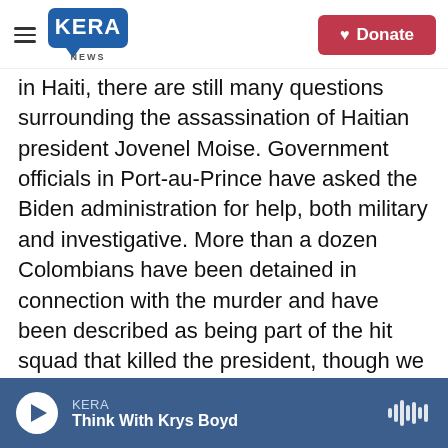KERA NEWS | Donate
in Haiti, there are still many questions surrounding the assassination of Haitian president Jovenel Moise. Government officials in Port-au-Prince have asked the Biden administration for help, both military and investigative. More than a dozen Colombians have been detained in connection with the murder and have been described as being part of the hit squad that killed the president, though we have not yet been presented with proof. And infighting over who will actually lead the country is deepening while gang violence continues. To bring us up to date on all this, reporter John Otis joins us via Skype from Bogota, the Colombian capital.
KERA | Think With Krys Boyd